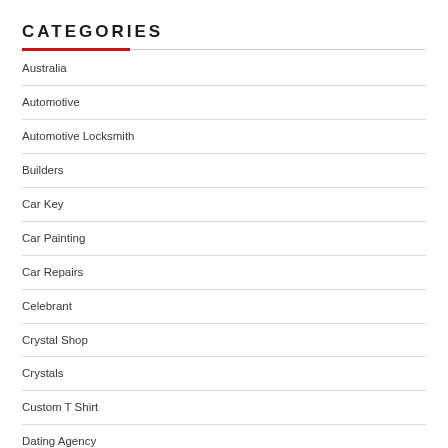CATEGORIES
Australia
Automotive
Automotive Locksmith
Builders
Car Key
Car Painting
Car Repairs
Celebrant
Crystal Shop
Crystals
Custom T Shirt
Dating Agency